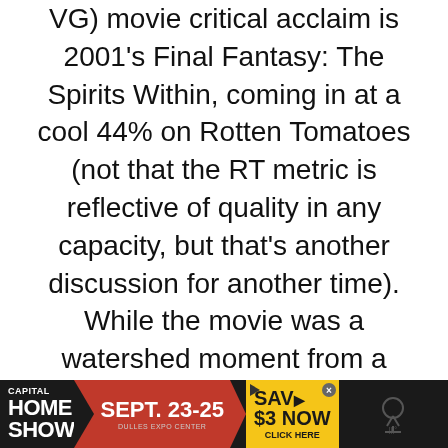VG) movie critical acclaim is 2001's Final Fantasy: The Spirits Within, coming in at a cool 44% on Rotten Tomatoes (not that the RT metric is reflective of quality in any capacity, but that's another discussion for another time). While the movie was a watershed moment from a technical standpoint (it had some of the most impressively detailed CGI in movie history up until that point), the consensus was the the film wasn't engaging enough on an emotional level to be any good. The fact that it went way over budget and single-handedly killed off
[Figure (other): Advertisement banner for Capital Home Show, Sept. 23-25 at Dulles Expo Center, with 'Save $3 Now / Click Here' call to action in yellow]